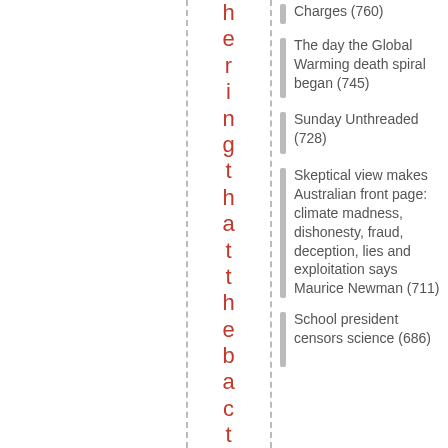h e r i n g t h a t t h e b a c t e r i a i n o u r
Charges (760)
The day the Global Warming death spiral began (745)
Sunday Unthreaded (728)
Skeptical view makes Australian front page: climate madness, dishonesty, fraud, deception, lies and exploitation says Maurice Newman (711)
School president censors science (686)